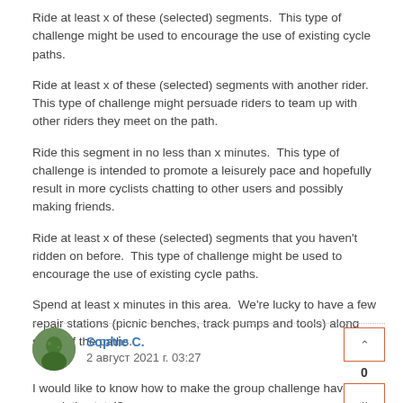Ride at least x of these (selected) segments.  This type of challenge might be used to encourage the use of existing cycle paths.
Ride at least x of these (selected) segments with another rider.  This type of challenge might persuade riders to team up with other riders they meet on the path.
Ride this segment in no less than x minutes.  This type of challenge is intended to promote a leisurely pace and hopefully result in more cyclists chatting to other users and possibly making friends.
Ride at least x of these (selected) segments that you haven't ridden on before.  This type of challenge might be used to encourage the use of existing cycle paths.
Spend at least x minutes in this area.  We're lucky to have a few repair stations (picnic benches, track pumps and tools) along some of the paths.
Sophie C.
2 август 2021 г. 03:27
I would like to know how to make the group challenge have a cumulative total?